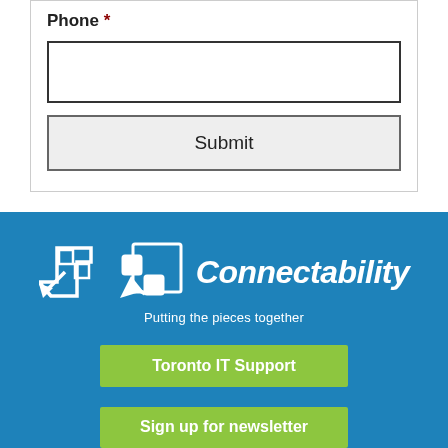Phone *
[Figure (screenshot): Phone input text field (empty, white background, dark border)]
[Figure (screenshot): Submit button with light gray background]
[Figure (logo): Connectability logo with puzzle piece icon and tagline 'Putting the pieces together' on blue background]
Toronto IT Support
Sign up for newsletter